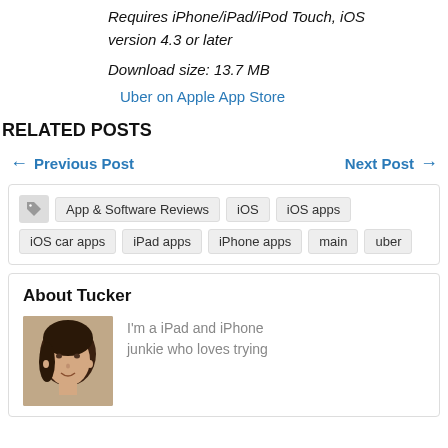Requires iPhone/iPad/iPod Touch, iOS version 4.3 or later
Download size: 13.7 MB
Uber on Apple App Store
RELATED POSTS
← Previous Post
Next Post →
App & Software Reviews   iOS   iOS apps   iOS car apps   iPad apps   iPhone apps   main   uber
About Tucker
[Figure (photo): Photo of Tucker, a woman with dark hair]
I'm a iPad and iPhone junkie who loves trying